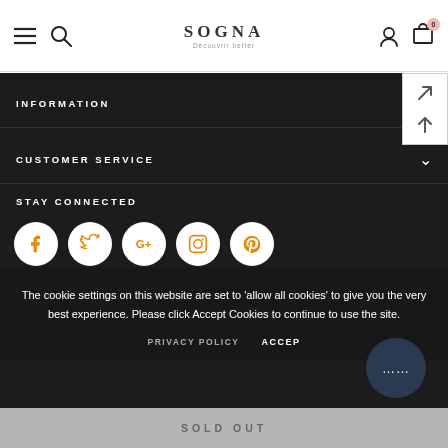SOGNA — website header with hamburger menu, search, logo, user icon, and cart (0)
INFORMATION
CUSTOMER SERVICE
STAY CONNECTED
[Figure (infographic): Social media icons: Facebook, Twitter, Google+, Instagram, Pinterest — white circles with orange icons on dark background]
LIKE US ON FACEBOOK
The cookie settings on this website are set to 'allow all cookies' to give you the very best experience. Please click Accept Cookies to continue to use the site.
PRIVACY POLICY   ACCEPT COOKIES
SOLD OUT